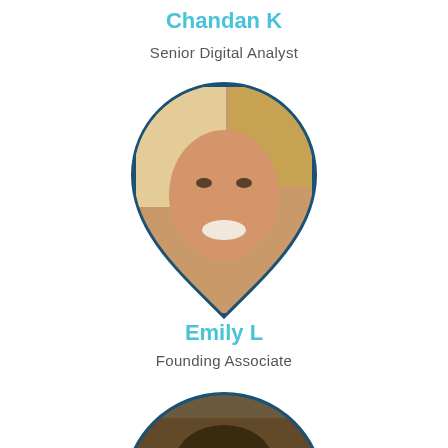Chandan K
Senior Digital Analyst
[Figure (photo): Profile photo of Emily L in a teardrop/shield shaped frame with dark teal border]
Emily L
Founding Associate
[Figure (photo): Profile photo of a man in a circular frame with dark teal border, partially cropped at bottom]